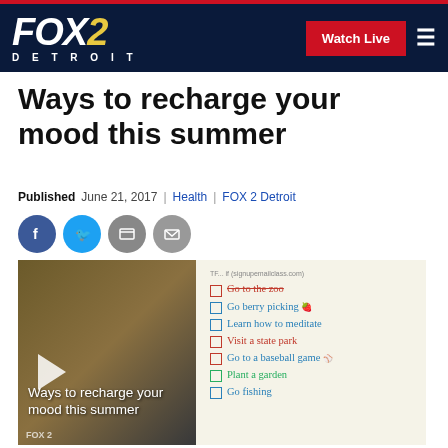FOX 2 DETROIT — Watch Live
Ways to recharge your mood this summer
Published June 21, 2017 | Health | FOX 2 Detroit
[Figure (screenshot): Video thumbnail showing a checklist with summer activities: Go to the zoo, Go berry picking, Learn how to meditate, Visit a state park, Go to a baseball game, Plant a garden, Go fishing. Overlay text reads 'Ways to recharge your mood this summer' with a play button.]